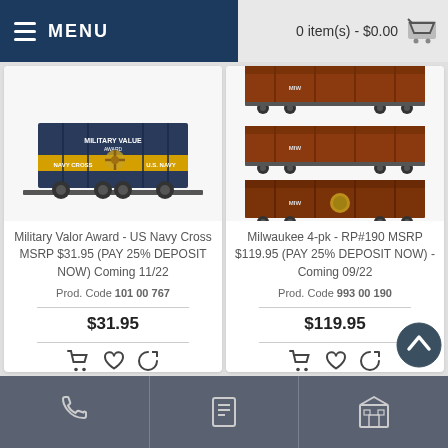MENU   0 item(s) - $0.00
[Figure (screenshot): Product image: Military Valor Award Navy Cross train car (dark blue/gold boxcar)]
Military Valor Award - US Navy Cross MSRP $31.95 (PAY 25% DEPOSIT NOW) Coming 11/22
Prod. Code 101 00 767
$31.95
[Figure (screenshot): Product image: Milwaukee 4-pk RP#190 brown gondola/boxcar train cars, set of 3 shown]
Milwaukee 4-pk - RP#190 MSRP $119.95 (PAY 25% DEPOSIT NOW) - Coming 09/22
Prod. Code 993 00 190
$119.95
Phone | Document | Building icons